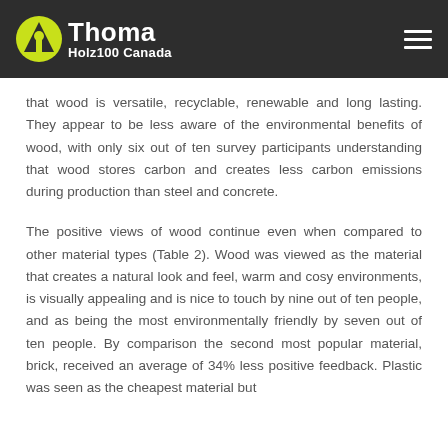Thoma Holz100 Canada
that wood is versatile, recyclable, renewable and long lasting. They appear to be less aware of the environmental benefits of wood, with only six out of ten survey participants understanding that wood stores carbon and creates less carbon emissions during production than steel and concrete.
The positive views of wood continue even when compared to other material types (Table 2). Wood was viewed as the material that creates a natural look and feel, warm and cosy environments, is visually appealing and is nice to touch by nine out of ten people, and as being the most environmentally friendly by seven out of ten people. By comparison the second most popular material, brick, received an average of 34% less positive feedback. Plastic was seen as the cheapest material but